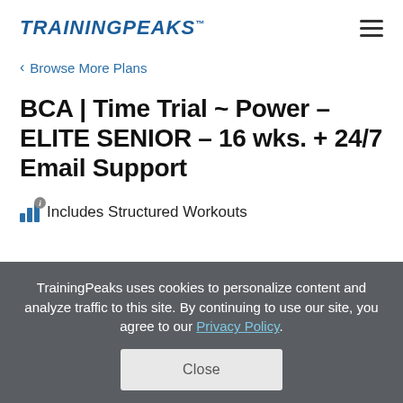TRAININGPEAKS
< Browse More Plans
BCA | Time Trial ~ Power – ELITE SENIOR – 16 wks. + 24/7 Email Support
Includes Structured Workouts
TrainingPeaks uses cookies to personalize content and analyze traffic to this site. By continuing to use our site, you agree to our Privacy Policy.
Close